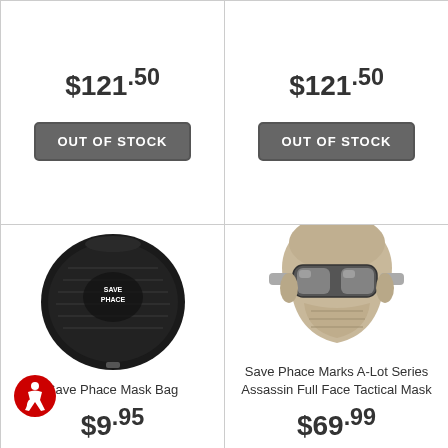$121.50
OUT OF STOCK
$121.50
OUT OF STOCK
[Figure (photo): Black Save Phace mask bag with logo]
Save Phace Mask Bag
$9.95
[Figure (photo): Tan/beige Save Phace Marks A-Lot Series Assassin Full Face Tactical Mask with mirrored goggles]
Save Phace Marks A-Lot Series Assassin Full Face Tactical Mask
$69.99